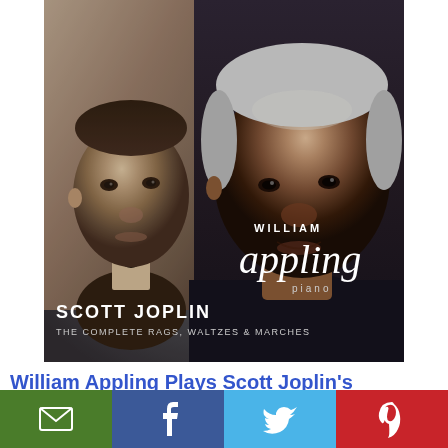[Figure (photo): Album cover for 'William Appling plays Scott Joplin: The Complete Rags, Waltzes & Marches'. Features two portraits side-by-side: a sepia-toned historical photo of Scott Joplin on the left, and a color photograph of pianist William Appling on the right. Text overlays include 'WILLIAM appling piano' in white script/serif and 'SCOTT JOPLIN THE COMPLETE RAGS, WALTZES & MARCHES' in white sans-serif at the bottom.]
William Appling Plays Scott Joplin's Complete
[Figure (infographic): Social sharing bar with four buttons: email (green), Facebook (blue), Twitter (light blue), Pinterest (red)]